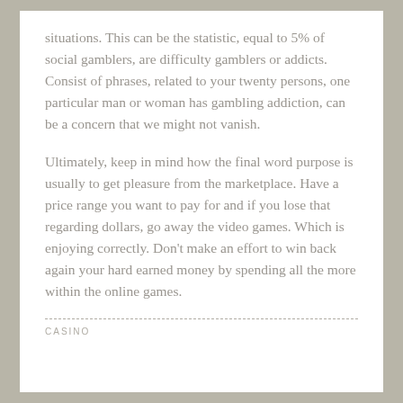situations. This can be the statistic, equal to 5% of social gamblers, are difficulty gamblers or addicts. Consist of phrases, related to your twenty persons, one particular man or woman has gambling addiction, can be a concern that we might not vanish.
Ultimately, keep in mind how the final word purpose is usually to get pleasure from the marketplace. Have a price range you want to pay for and if you lose that regarding dollars, go away the video games. Which is enjoying correctly. Don't make an effort to win back again your hard earned money by spending all the more within the online games.
CASINO